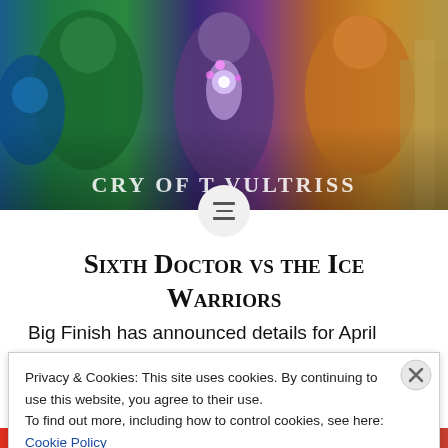[Figure (photo): Colorful fantasy/sci-fi promotional image showing figures with glowing crystal, green and orange tones, partially obscured text 'CRY OF THE VULTRIS' at bottom]
Sixth Doctor vs the Ice Warriors
Big Finish has announced details for April 2020's Cry of the Vultris, and it's a welcome return for The Sixth Doctor, Flip and Constance Clarke who will be meeting the Ice Warriors in the Darren Jones story Cry of the Vultriss. Details
Privacy & Cookies: This site uses cookies. By continuing to use this website, you agree to their use.
To find out more, including how to control cookies, see here: Cookie Policy
Close and accept